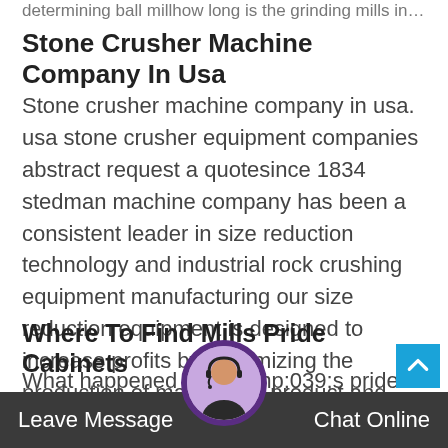determining ball millhow long is the grinding mills in…
Stone Crusher Machine Company In Usa
Stone crusher machine company in usa. usa stone crusher equipment companies abstract request a quotesince 1834 stedman machine company has been a consistent leader in size reduction technology and industrial rock crushing equipment manufacturing our size reduction equipment is designed to increase profits by maximizing the production of marketable product and reduce equipment.
Where To Find Mills Pride Cabinets
What happened to millamp;039;s pride kitchen cabinets. this was the last of what we knew of mills pride kitchens. i have done some research and found a … have for at …